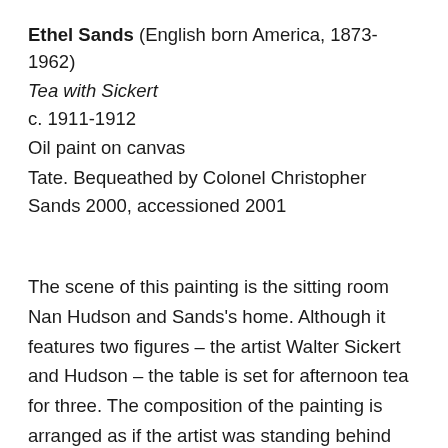Ethel Sands (English born America, 1873-1962)
Tea with Sickert
c. 1911-1912
Oil paint on canvas
Tate. Bequeathed by Colonel Christopher Sands 2000, accessioned 2001
The scene of this painting is the sitting room Nan Hudson and Sands's home. Although it features two figures – the artist Walter Sickert and Hudson – the table is set for afternoon tea for three. The composition of the painting is arranged as if the artist was standing behind Nan, and this perspective highlights their position as a couple. In 1912, they were also exhibited as part of Sands and Hudson's